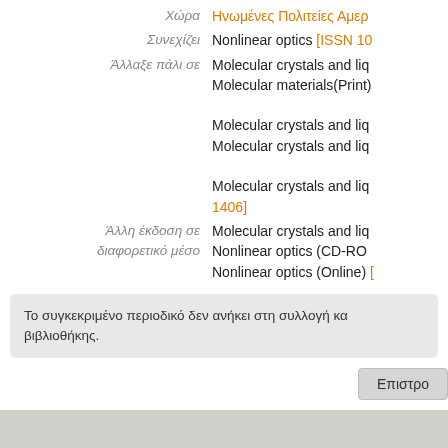Χώρα	Ηνωμένες Πολιτείες Αμερ...
Συνεχίζει	Nonlinear optics [ISSN 10...]
Άλλαξε πάλι σε	Molecular crystals and liq... Molecular materials(Print)
Molecular crystals and liq... Molecular crystals and liq...
Molecular crystals and liq... 1406]
Άλλη έκδοση σε διαφορετικό μέσο	Molecular crystals and liq... Nonlinear optics (CD-RO... Nonlinear optics (Online) [...]
Το συγκεκριμένο περιοδικό δεν ανήκει στη συλλογή κα... βιβλιοθήκης.
Επιστρο...